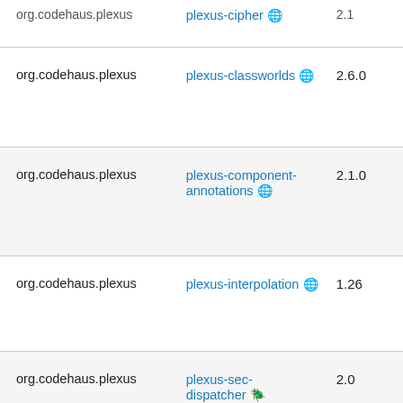| GroupId | ArtifactId | Version |
| --- | --- | --- |
| org.codehaus.plexus | plexus-cipher 🌐 | 2.1 |
| org.codehaus.plexus | plexus-classworlds 🌐 | 2.6.0 |
| org.codehaus.plexus | plexus-component-annotations 🌐 | 2.1.0 |
| org.codehaus.plexus | plexus-interpolation 🌐 | 1.26 |
| org.codehaus.plexus | plexus-sec-dispatcher 🪲 | 2.0 |